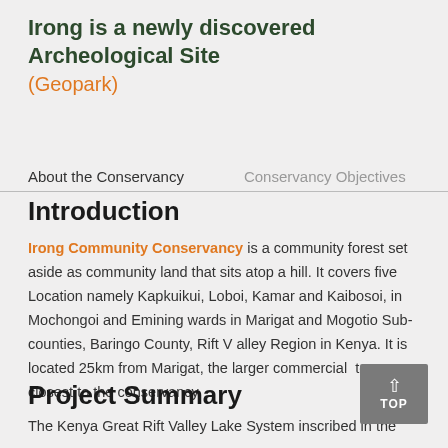Irong is a newly discovered Archeological Site (Geopark)
About the Conservancy | Conservancy Objectives
Introduction
Irong Community Conservancy is a community forest set aside as community land that sits atop a hill. It covers five Location namely Kapkuikui, Loboi, Kamar and Kaibosoi, in Mochongoi and Emining wards in Marigat and Mogotio Sub-counties, Baringo County, Rift Valley Region in Kenya. It is located 25km from Marigat, the larger commercial town closest to the conservancy.
Project Summary
The Kenya Great Rift Valley Lake System inscribed in the